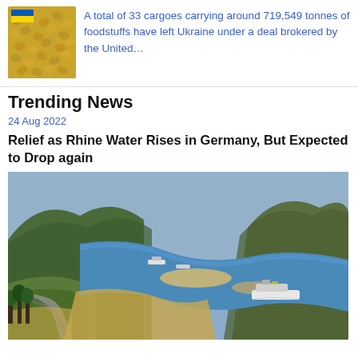[Figure (photo): Thumbnail photo of wheat grains with a small Ukrainian flag]
A total of 33 cargoes carrying around 719,549 tonnes of foodstuffs have left Ukraine under a deal brokered by the United…
Trending News
24 Aug 2022
Relief as Rhine Water Rises in Germany, But Expected to Drop again
[Figure (photo): Aerial photo of the Rhine river in Germany, showing the river winding through hills with low water levels and exposed sandbars, vessels on the water]